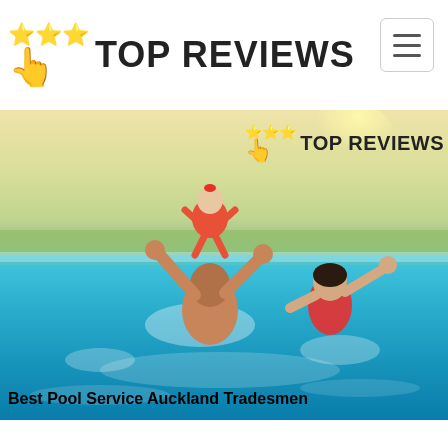TOP REVIEWS
[Figure (photo): A family playing in a swimming pool — a man lifts a baby in a red floral outfit high above the water while a woman in a red swimsuit splashes joyfully beside them. The pool is outdoors with trees and bright sunlight in the background. An overlay in the top-right corner shows the TOP REVIEWS logo with star and hand icons.]
Best Pool Service Auckland Tradesmen